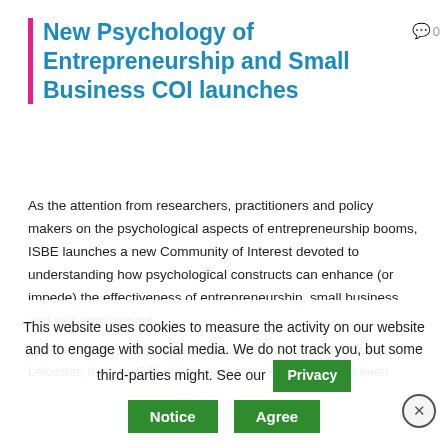New Psychology of Entrepreneurship and Small Business COI launches
As the attention from researchers, practitioners and policy makers on the psychological aspects of entrepreneurship booms, ISBE launches a new Community of Interest devoted to understanding how psychological constructs can enhance (or impede) the effectiveness of entrepreneurship, small business and self-employment.
Led by Associate Professor Sukanlaya Sawang of the University of Leicester, the new COI will connect communities who are keen context that looks at social media, policies and the rising cli...
This website uses cookies to measure the activity on our website and to engage with social media. We do not track you, but some third-parties might. See our Privacy Notice Agree